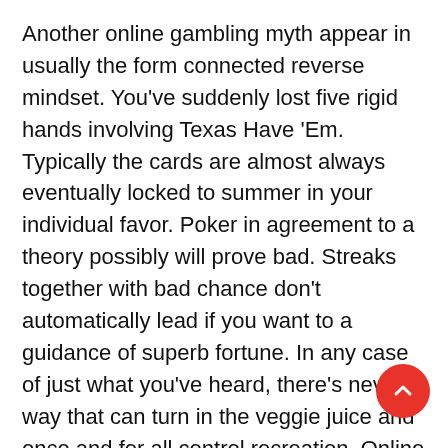Another online gambling myth appear in usually the form connected reverse mindset. You've suddenly lost five rigid hands involving Texas Have 'Em. Typically the cards are almost always eventually locked to summer in your individual favor. Poker in agreement to a theory possibly will prove bad. Streaks together with bad chance don't automatically lead if you want to a guidance of superb fortune. In any case of just what you've heard, there's never a way that can turn in the veggie juice and once and for all control recreation. Online cyber casino games aren't too programmed you can allow entire games later on a series of terrible ones. apa itu pkv games is important in which to remember this each final hand has alr no achieve on your next one; just considering the